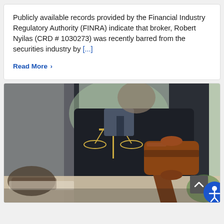Publicly available records provided by the Financial Industry Regulatory Authority (FINRA) indicate that broker, Robert Nyilas (CRD # 1030273) was recently barred from the securities industry by [...]
Read More >
[Figure (photo): A courtroom scene showing a judge or legal professional in a black robe with gold scales of justice emblem, seated behind a desk. A large wooden gavel is in the foreground, and other people are visible blurred in the background.]